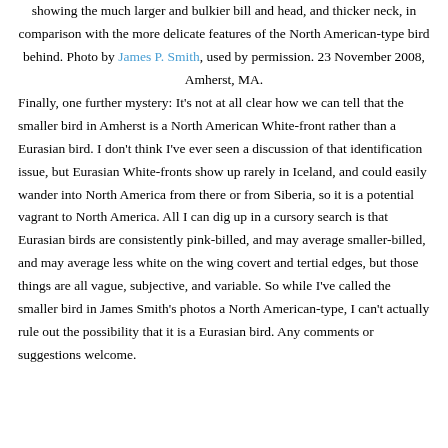showing the much larger and bulkier bill and head, and thicker neck, in comparison with the more delicate features of the North American-type bird behind. Photo by James P. Smith, used by permission. 23 November 2008, Amherst, MA.
Finally, one further mystery: It's not at all clear how we can tell that the smaller bird in Amherst is a North American White-front rather than a Eurasian bird. I don't think I've ever seen a discussion of that identification issue, but Eurasian White-fronts show up rarely in Iceland, and could easily wander into North America from there or from Siberia, so it is a potential vagrant to North America. All I can dig up in a cursory search is that Eurasian birds are consistently pink-billed, and may average smaller-billed, and may average less white on the wing covert and tertial edges, but those things are all vague, subjective, and variable. So while I've called the smaller bird in James Smith's photos a North American-type, I can't actually rule out the possibility that it is a Eurasian bird. Any comments or suggestions welcome.